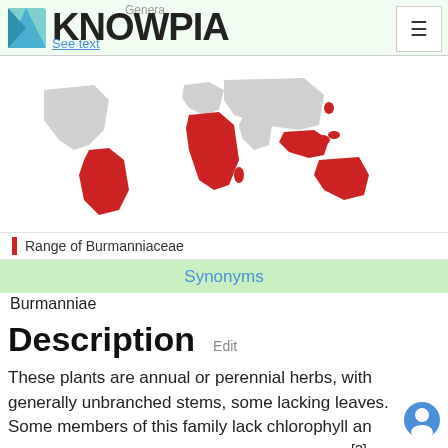KNOWPIA — Genera
[Figure (map): World map showing range of Burmanniaceae in red, highlighting South America, central Africa, and Southeast Asia/Australia regions]
Range of Burmanniaceae
Synonyms
Burmanniae
Description Edit
These plants are annual or perennial herbs, with generally unbranched stems, some lacking leaves. Some members of this family lack chlorophyll an mycotrophic (also called myco-heterotrophic).[3]